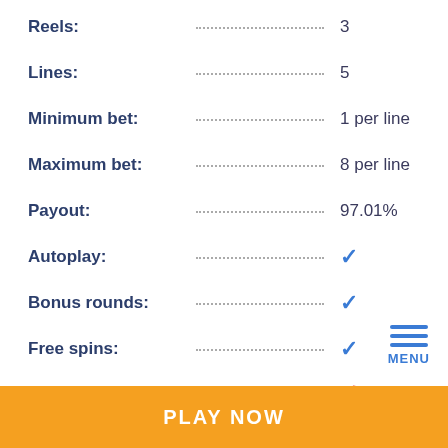Reels: 3
Lines: 5
Minimum bet: 1 per line
Maximum bet: 8 per line
Payout: 97.01%
Autoplay: ✓
Bonus rounds: ✓
Free spins: ✓
Multiplier: ✗
Mobile: ✗
PLAY NOW